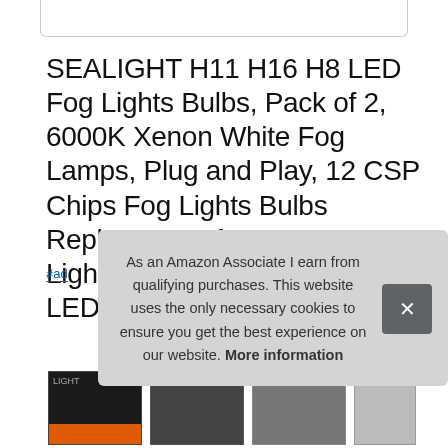SEALIGHT H11 H16 H8 LED Fog Lights Bulbs, Pack of 2, 6000K Xenon White Fog Lamps, Plug and Play, 12 CSP Chips Fog Lights Bulbs Replacement for Cars, Strong Light Penetration Fog Light LED, Trucks
#ad
As an Amazon Associate I earn from qualifying purchases. This website uses the only necessary cookies to ensure you get the best experience on our website. More information